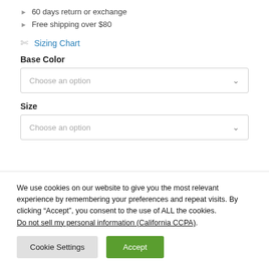60 days return or exchange
Free shipping over $80
✂ Sizing Chart
Base Color
Choose an option
Size
Choose an option
We use cookies on our website to give you the most relevant experience by remembering your preferences and repeat visits. By clicking “Accept”, you consent to the use of ALL the cookies. Do not sell my personal information (California CCPA).